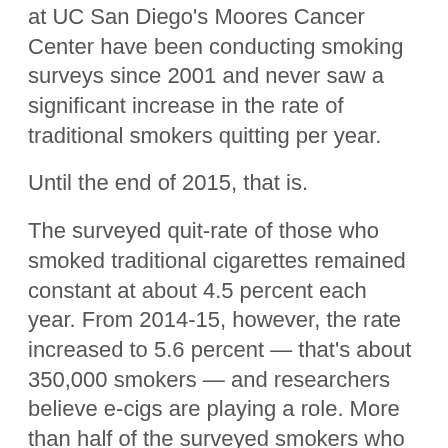at UC San Diego's Moores Cancer Center have been conducting smoking surveys since 2001 and never saw a significant increase in the rate of traditional smokers quitting per year.
Until the end of 2015, that is.
The surveyed quit-rate of those who smoked traditional cigarettes remained constant at about 4.5 percent each year. From 2014-15, however, the rate increased to 5.6 percent — that's about 350,000 smokers — and researchers believe e-cigs are playing a role. More than half of the surveyed smokers who quit over the previous year indicated they used e-cigarettes.
Moreover, 8.2 percent of smokers who also used e-cigs were able to quit opposed to the less than 5